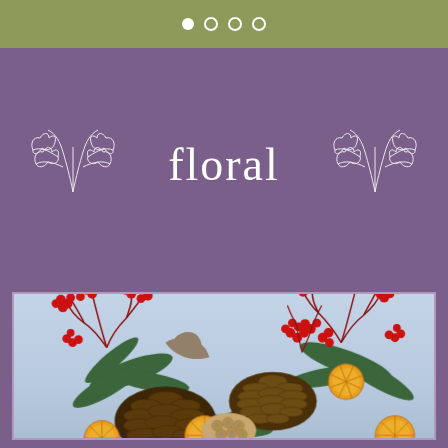● ○ ○ ○
floral
[Figure (photo): Christmas/holiday floral arrangement featuring pine cones, red holly berries, evergreen branches, dried orange slices, and lotus seed pods against a light blue-grey background]